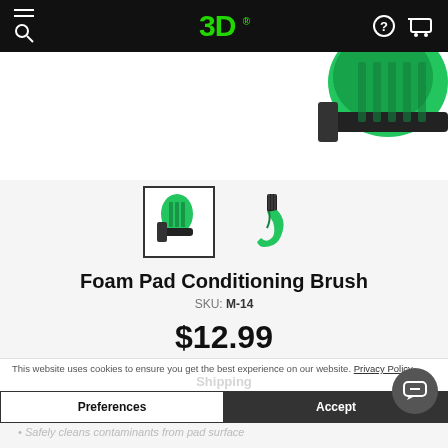3D (logo) — navigation bar
[Figure (photo): Close-up of a green foam pad conditioning brush with black bristles, partial view from top-right corner]
[Figure (photo): Two product thumbnail images of the green Foam Pad Conditioning Brush, one selected with border]
Foam Pad Conditioning Brush
SKU: M-14
$12.99
This website uses cookies to ensure you get the best experience on our website. Privacy Policy
Shipping
Preferences
Accept
Safely cleans contaminants from pad surface